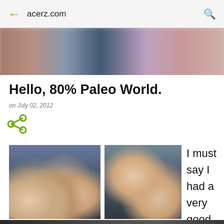acerz.com
Hello, 80% Paleo World.
on July 02, 2012
[Figure (photo): Share icon (green)]
[Figure (photo): Group selfie of four young women outdoors]
[Figure (photo): Two women making funny faces close to camera]
I must say I had a very good
[Figure (photo): Bottom strip photo, partially visible]